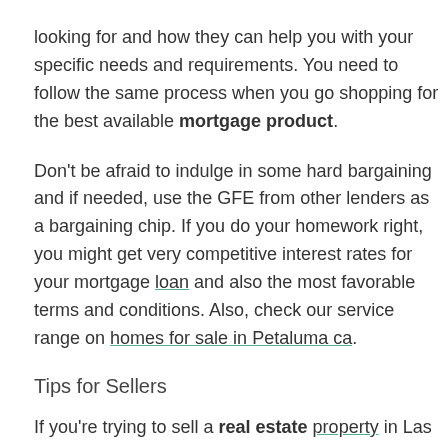looking for and how they can help you with your specific needs and requirements. You need to follow the same process when you go shopping for the best available mortgage product.
Don't be afraid to indulge in some hard bargaining and if needed, use the GFE from other lenders as a bargaining chip. If you do your homework right, you might get very competitive interest rates for your mortgage loan and also the most favorable terms and conditions. Also, check our service range on homes for sale in Petaluma ca.
Tips for Sellers
If you're trying to sell a real estate property in Las Vegas, you'll first have to find the right realtor. You